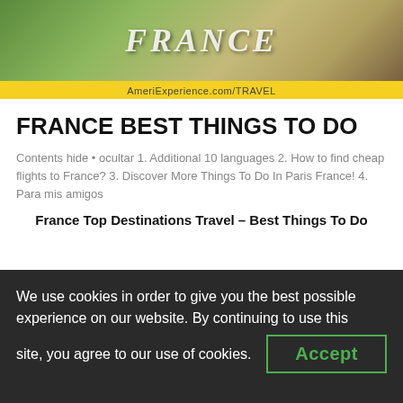[Figure (photo): Banner image with France travel theme, showing a decorative/animal image with green background and the text FRANCE partially visible, with a yellow strip below showing AmeriExperience.com/TRAVEL]
FRANCE BEST THINGS TO DO
Contents hide • ocultar 1. Additional 10 languages 2. How to find cheap flights to France? 3. Discover More Things To Do In Paris France! 4. Para mis amigos
France Top Destinations Travel – Best Things To Do
Visit Scandinavia
We use cookies in order to give you the best possible experience on our website. By continuing to use this site, you agree to our use of cookies.